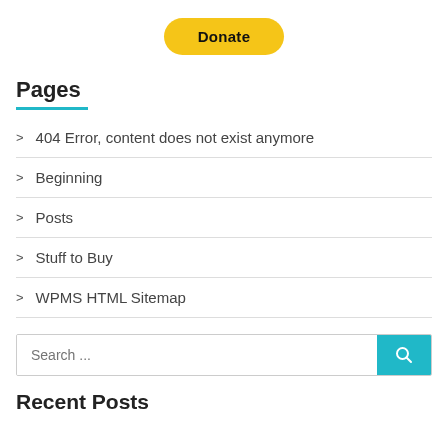[Figure (other): PayPal Donate button, yellow/gold pill-shaped button with bold black text reading 'Donate']
Pages
> 404 Error, content does not exist anymore
> Beginning
> Posts
> Stuff to Buy
> WPMS HTML Sitemap
[Figure (other): Search input field with placeholder text 'Search ...' and a teal search button with magnifying glass icon]
Recent Posts